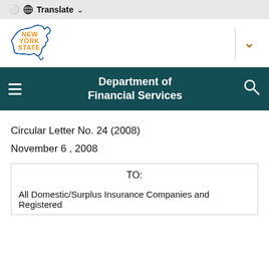⊕ Translate ∨
[Figure (logo): New York State logo with outline of NYS map in blue and orange text reading NEW YORK STATE]
Department of Financial Services
Circular Letter No. 24 (2008)
November 6 , 2008
TO:

All Domestic/Surplus Insurance Companies and Registered...